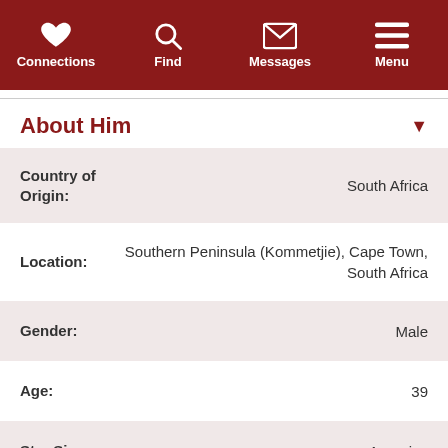Connections | Find | Messages | Menu
About Him
| Field | Value |
| --- | --- |
| Country of Origin: | South Africa |
| Location: | Southern Peninsula (Kommetjie), Cape Town, South Africa |
| Gender: | Male |
| Age: | 39 |
| Star Sign: | Aquarius |
| Height: | Ask me later |